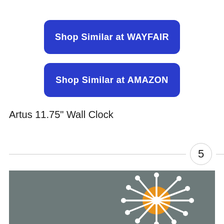Shop Similar at WAYFAIR
Shop Similar at AMAZON
Artus 11.75" Wall Clock
5
[Figure (photo): A mid-century modern atomic/sputnik style wall clock with white spokes and circular ends radiating from an orange circular center, mounted on a gray wall.]